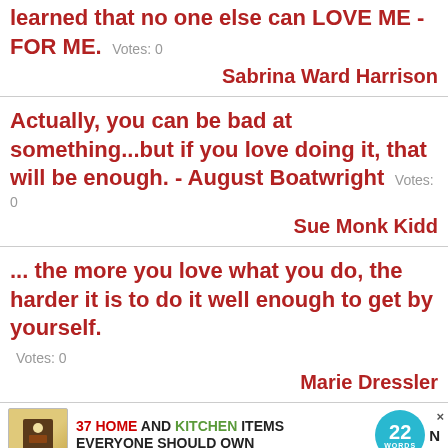learned that no one else can LOVE ME - FOR ME. Votes: 0
Sabrina Ward Harrison
Actually, you can be bad at something...but if you love doing it, that will be enough. - August Boatwright Votes: 0
Sue Monk Kidd
... the more you love what you do, the harder it is to do it well enough to get by yourself. Votes: 0
Marie Dressler
[Figure (screenshot): Advertisement banner: 37 HOME AND KITCHEN ITEMS EVERYONE SHOULD OWN with 22 Words badge]
Wher ... N yourself to be vulnerable enough to let them in. Love is messy. Votes: 0